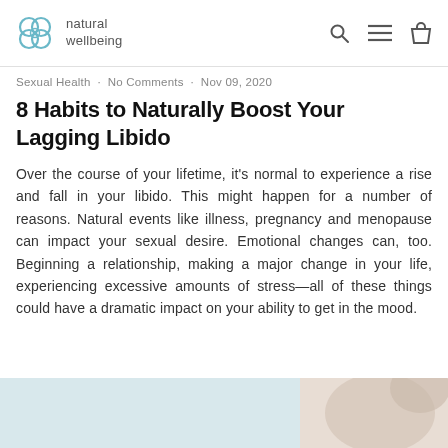natural wellbeing [logo + navigation]
Sexual Health · No Comments · Nov 09, 2020
8 Habits to Naturally Boost Your Lagging Libido
Over the course of your lifetime, it's normal to experience a rise and fall in your libido. This might happen for a number of reasons. Natural events like illness, pregnancy and menopause can impact your sexual desire. Emotional changes can, too. Beginning a relationship, making a major change in your life, experiencing excessive amounts of stress—all of these things could have a dramatic impact on your ability to get in the mood.
[Figure (photo): Partial photo of a person, light background, visible arm/shoulder area at bottom of page]